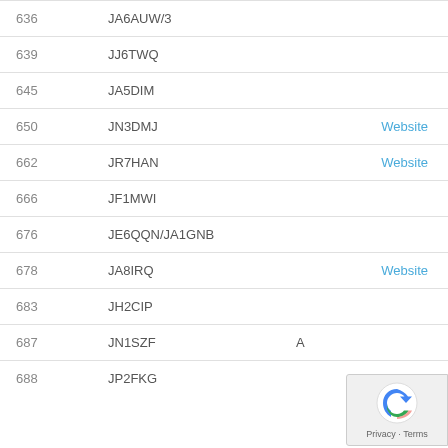| # | Callsign |  |  |
| --- | --- | --- | --- |
| 636 | JA6AUW/3 |  |  |
| 639 | JJ6TWQ |  |  |
| 645 | JA5DIM |  |  |
| 650 | JN3DMJ |  | Website |
| 662 | JR7HAN |  | Website |
| 666 | JF1MWI |  |  |
| 676 | JE6QQN/JA1GNB |  |  |
| 678 | JA8IRQ |  | Website |
| 683 | JH2CIP |  |  |
| 687 | JN1SZF | A |  |
| 688 | JP2FKG |  |  |